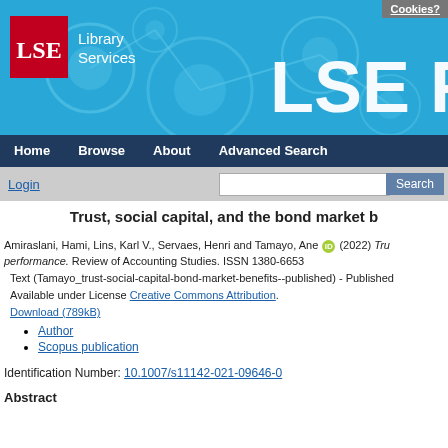[Figure (logo): LSE Library Services banner with blue background, network node circles, LSE red logo box, and 'LSE R' text]
Cookies?
Home  Browse  About  Advanced Search
Login  [search box]  Search
Trust, social capital, and the bond market b
Amiraslani, Hami, Lins, Karl V., Servaes, Henri and Tamayo, Ane (2022) Tru performance. Review of Accounting Studies. ISSN 1380-6653
Text (Tamayo_trust-social-capital-bond-market-benefits--published) - Published Available under License Creative Commons Attribution.
Download (789kB)
Author
Scopus publication
Identification Number: 10.1007/s11142-021-09646-0
Abstract